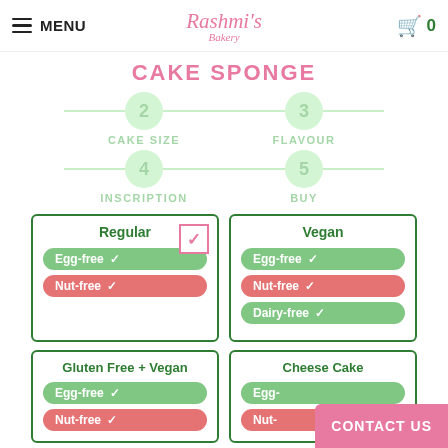MENU | Rashmi's Bakery | 0
CAKE SPONGE
Step 2: CAKE SIZE | Step 3: FLAVOUR | Step 4: INSCRIPTION | Step 5: BUY
Regular (selected) - Egg-free ✓, Nut-free ✓
Vegan - Egg-free ✓, Nut-free ✓, Dairy-free ✓
Gluten Free + Vegan - Egg-free ✓, Nut-free ✓
Cheese Cake - Egg-free, Nut-
CONTACT US